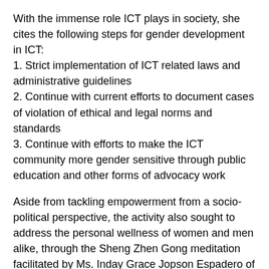With the immense role ICT plays in society, she cites the following steps for gender development in ICT:
1. Strict implementation of ICT related laws and administrative guidelines
2. Continue with current efforts to document cases of violation of ethical and legal norms and standards
3. Continue with efforts to make the ICT community more gender sensitive through public education and other forms of advocacy work
Aside from tackling empowerment from a socio-political perspective, the activity also sought to address the personal wellness of women and men alike, through the Sheng Zhen Gong meditation facilitated by Ms. Inday Grace Jopson Espadero of the International Sheng Zhen Society. Through 30-minute meditation, Espadero allowed the participants to channel and centralize their “qi”, thus